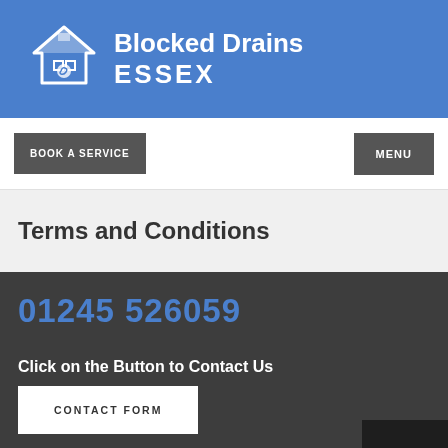Blocked Drains ESSEX
BOOK A SERVICE
MENU
Terms and Conditions
01245 526059
Click on the Button to Contact Us
CONTACT FORM